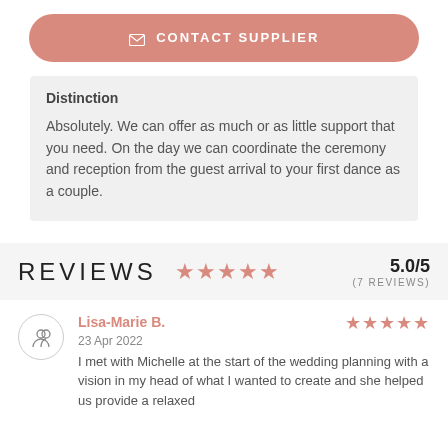✉ CONTACT SUPPLIER
Distinction
Absolutely. We can offer as much or as little support that you need. On the day we can coordinate the ceremony and reception from the guest arrival to your first dance as a couple.
REVIEWS  5.0/5  (7 REVIEWS)
Lisa-Marie B.  23 Apr 2022  I met with Michelle at the start of the wedding planning with a vision in my head of what I wanted to create and she helped us provide a relaxed